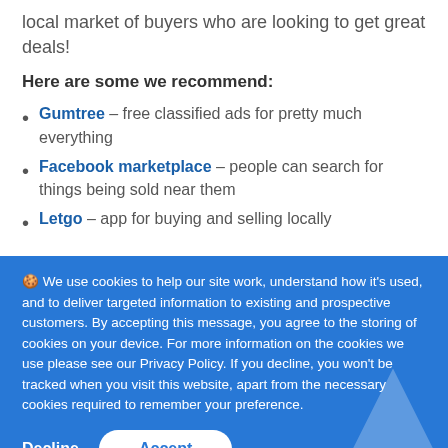local market of buyers who are looking to get great deals!
Here are some we recommend:
Gumtree – free classified ads for pretty much everything
Facebook marketplace – people can search for things being sold near them
Letgo – app for buying and selling locally
🍪 We use cookies to help our site work, understand how it's used, and to deliver targeted information to existing and prospective customers. By accepting this message, you agree to the storing of cookies on your device. For more information on the cookies we use please see our Privacy Policy. If you decline, you won't be tracked when you visit this website, apart from the necessary cookies required to remember your preference.
Decline  Accept